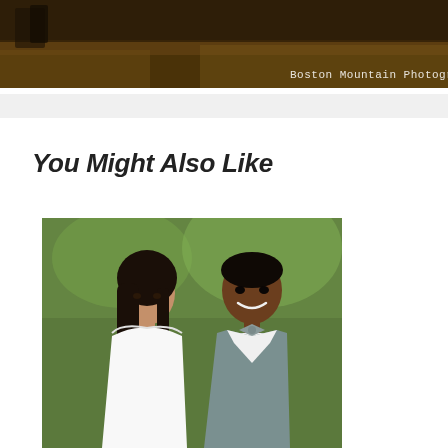[Figure (photo): Outdoor wedding photo showing figures on a grassy field. Text overlay reads 'Boston Mountain Photography' in white.]
[Figure (other): Light gray horizontal banner/bar element]
You Might Also Like
[Figure (photo): Portrait of a smiling couple — a woman in a white wedding dress and a man in a gray tuxedo with a bow tie — outdoors with greenery in the background.]